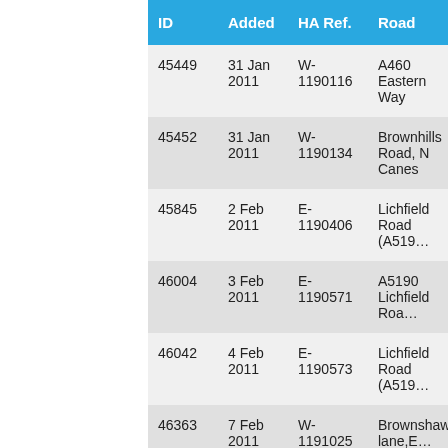| ID | Added | HA Ref. | Road |
| --- | --- | --- | --- |
| 45449 | 31 Jan 2011 | W-1190116 | A460 Eastern Way |
| 45452 | 31 Jan 2011 | W-1190134 | Brownhills Road, N Canes |
| 45845 | 2 Feb 2011 | E-1190406 | Lichfield Road (A519… |
| 46004 | 3 Feb 2011 | E-1190571 | A5190 Lichfield Roa… |
| 46042 | 4 Feb 2011 | E-1190573 | Lichfield Road (A519… |
| 46363 | 7 Feb 2011 | W-1191025 | Brownshawe lane, E… outside number 66 |
| 46355 | 9 Feb … | W-… | Burntwood Road, N… |